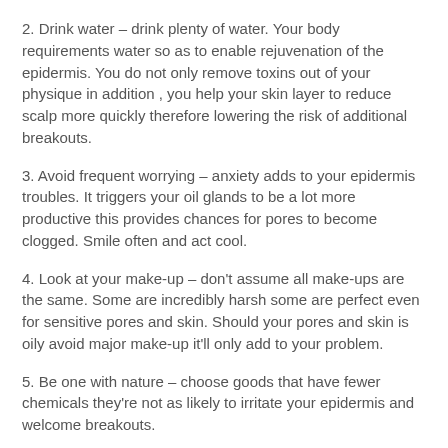2. Drink water – drink plenty of water. Your body requirements water so as to enable rejuvenation of the epidermis. You do not only remove toxins out of your physique in addition , you help your skin layer to reduce scalp more quickly therefore lowering the risk of additional breakouts.
3. Avoid frequent worrying – anxiety adds to your epidermis troubles. It triggers your oil glands to be a lot more productive this provides chances for pores to become clogged. Smile often and act cool.
4. Look at your make-up – don't assume all make-ups are the same. Some are incredibly harsh some are perfect even for sensitive pores and skin. Should your pores and skin is oily avoid major make-up it'll only add to your problem.
5. Be one with nature – choose goods that have fewer chemicals they're not as likely to irritate your epidermis and welcome breakouts.
six. Steer clear of polluted locations as much as possible – for city dwellers that is very difficult to complete but if you'll be able to remain indoors often the dusty air slamming in your pores and skin grows more minimal. This will help your pores become more fresh new and unclogged.